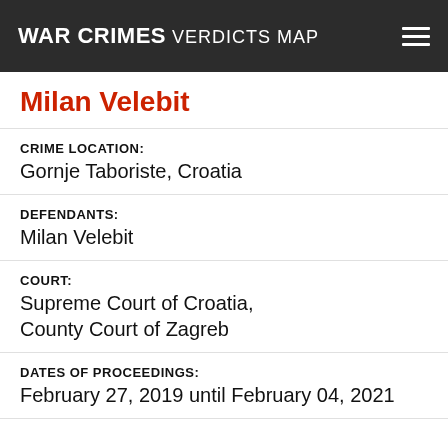WAR CRIMES VERDICTS MAP
Milan Velebit
CRIME LOCATION:
Gornje Taboriste, Croatia
DEFENDANTS:
Milan Velebit
COURT:
Supreme Court of Croatia, County Court of Zagreb
DATES OF PROCEEDINGS:
February 27, 2019 until February 04, 2021